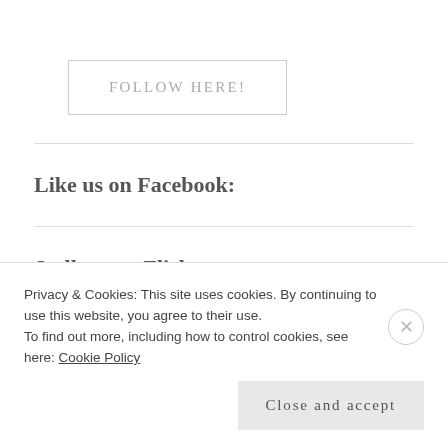FOLLOW HERE!
Like us on Facebook:
Stalk us on Flickr
Privacy & Cookies: This site uses cookies. By continuing to use this website, you agree to their use.
To find out more, including how to control cookies, see here: Cookie Policy
Close and accept